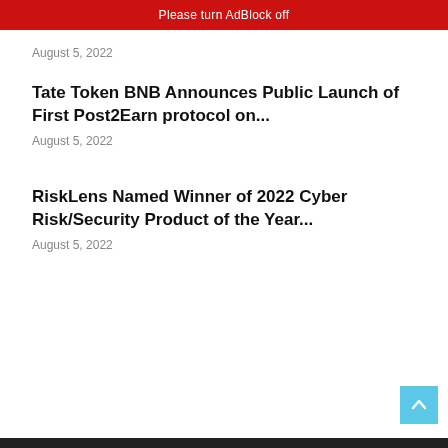Please turn AdBlock off
August 5, 2022
Tate Token BNB Announces Public Launch of First Post2Earn protocol on...
August 5, 2022
RiskLens Named Winner of 2022 Cyber Risk/Security Product of the Year...
August 5, 2022